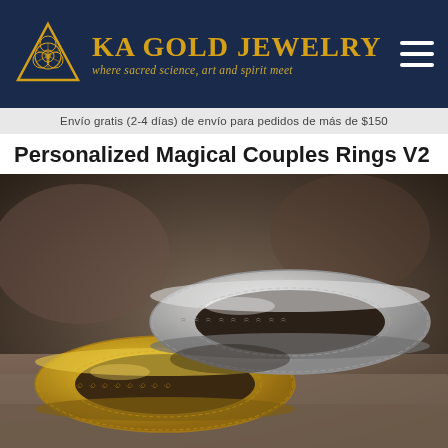[Figure (logo): KA Gold Jewelry logo with triangle/flower of life symbol and text 'KA GOLD JEWELRY - where sacred science, art and spirit meet' on dark navy background, with hamburger menu icon top right]
Envío gratis (2-4 días) de envío para pedidos de más de $150
Personalized Magical Couples Rings V2
[Figure (photo): Two decorative rings - one gold and one silver - both featuring intricate engraved ornamental patterns, photographed on a stone surface]